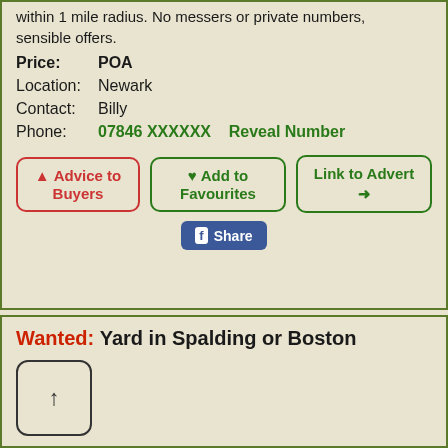within 1 mile radius. No messers or private numbers, sensible offers.
Price: POA
Location: Newark
Contact: Billy
Phone: 07846 XXXXXX   Reveal Number
▲ Advice to Buyers | ❤ Add to Favourites | Link to Advert ➡
Share (Facebook)
Wanted: Yard in Spalding or Boston
[Figure (photo): Small placeholder image thumbnail]